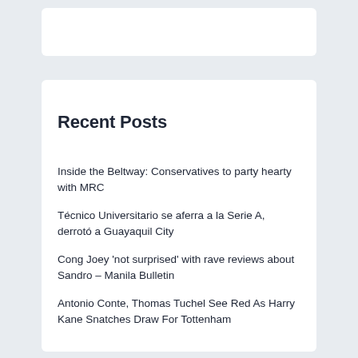Recent Posts
Inside the Beltway: Conservatives to party hearty with MRC
Técnico Universitario se aferra a la Serie A, derrotó a Guayaquil City
Cong Joey 'not surprised' with rave reviews about Sandro – Manila Bulletin
Antonio Conte, Thomas Tuchel See Red As Harry Kane Snatches Draw For Tottenham